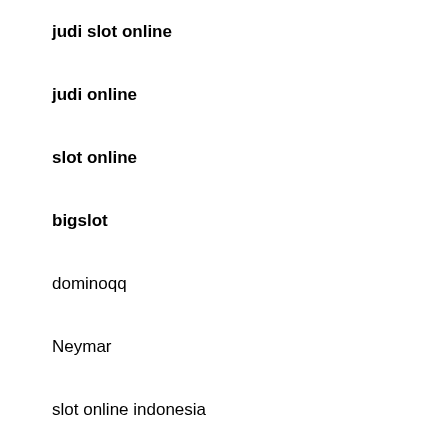judi slot online
judi online
slot online
bigslot
dominoqq
Neymar
slot online indonesia